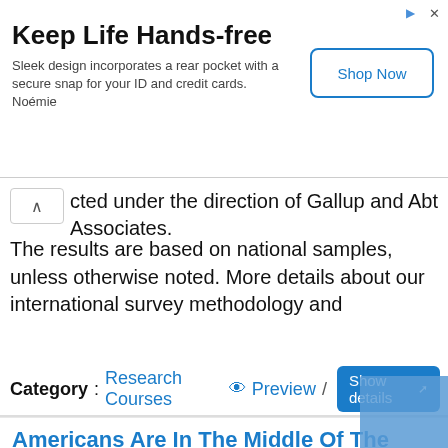[Figure (other): Advertisement banner: Keep Life Hands-free. Sleek design incorporates a rear pocket with a secure snap for your ID and credit cards. Noémie. Shop Now button.]
cted under the direction of Gallup and Abt Associates. The results are based on national samples, unless otherwise noted. More details about our international survey methodology and
Category: Research Courses  Preview /  Show details
Americans Are In The Middle Of The Pack Globally Pew ...
8 hours ago  More than half of Americans (53%) now say religion is very important in their lives, according to a recent Pew Research Center report.While this figure has declined somewhat in recent years – down from 56% in 2007 – Americans remain in the middle of the pack in terms